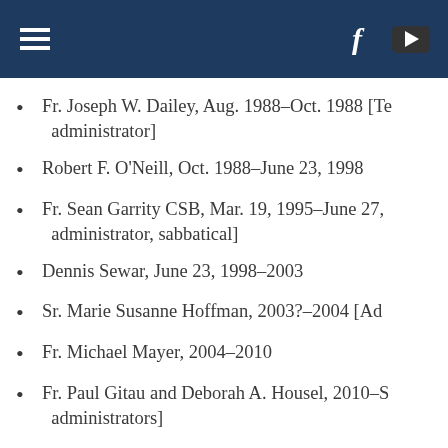Navigation header with hamburger menu, Facebook and YouTube icons
Fr. Joseph W. Dailey, Aug. 1988–Oct. 1988 [Te… administrator]
Robert F. O'Neill, Oct. 1988–June 23, 1998
Fr. Sean Garrity CSB, Mar. 19, 1995–June 27, … administrator, sabbatical]
Dennis Sewar, June 23, 1998–2003
Sr. Marie Susanne Hoffman, 2003?–2004 [Ad…
Fr. Michael Mayer, 2004–2010
Fr. Paul Gitau and Deborah A. Housel, 2010–S… administrators]
Deacon David Palma, 2011–July 2012 [Admini…
Frs. William F. McGrath and Robert Werth, Ju… [Co-administrators]